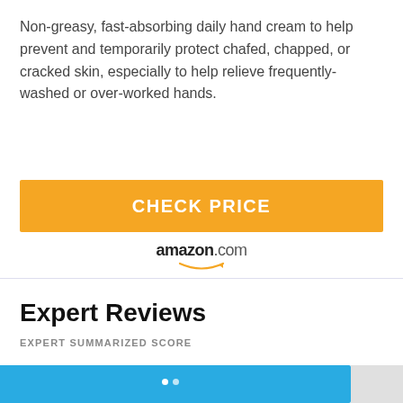Non-greasy, fast-absorbing daily hand cream to help prevent and temporarily protect chafed, chapped, or cracked skin, especially to help relieve frequently-washed or over-worked hands.
[Figure (other): Orange CHECK PRICE button with amazon.com logo and smile arrow beneath it]
Expert Reviews
EXPERT SUMMARIZED SCORE
[Figure (other): Blue progress/score bar partially visible at bottom of page]